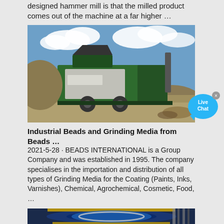designed hammer mill is that the milled product comes out of the machine at a far higher …
[Figure (photo): Green mobile hammer mill machine on a construction/mining site with blue sky and clouds background]
[Figure (logo): Live Chat button bubble in light blue]
Industrial Beads and Grinding Media from Beads …
2021-5-28 · BEADS INTERNATIONAL is a Group Company and was established in 1995. The company specialises in the importation and distribution of all types of Grinding Media for the Coating (Paints, Inks, Varnishes), Chemical, Agrochemical, Cosmetic, Food, …
[Figure (photo): Close-up of industrial grinding mill machinery with blue and yellow components]